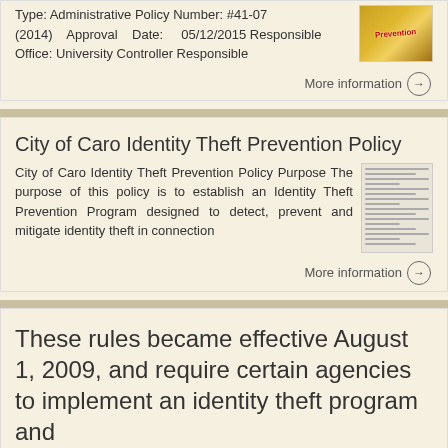Type: Administrative Policy Number: #41-07 (2014) Approval Date: 05/12/2015 Responsible Office: University Controller Responsible
More information →
City of Caro Identity Theft Prevention Policy
City of Caro Identity Theft Prevention Policy Purpose The purpose of this policy is to establish an Identity Theft Prevention Program designed to detect, prevent and mitigate identity theft in connection
More information →
These rules became effective August 1, 2009, and require certain agencies to implement an identity theft program and
Red Flag Policy Protecting your privacy is of